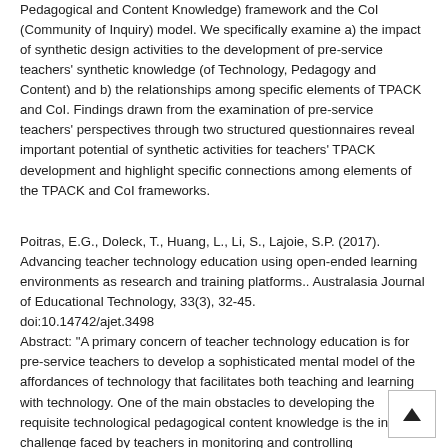Pedagogical and Content Knowledge) framework and the CoI (Community of Inquiry) model. We specifically examine a) the impact of synthetic design activities to the development of pre-service teachers' synthetic knowledge (of Technology, Pedagogy and Content) and b) the relationships among specific elements of TPACK and CoI. Findings drawn from the examination of pre-service teachers' perspectives through two structured questionnaires reveal important potential of synthetic activities for teachers' TPACK development and highlight specific connections among elements of the TPACK and CoI frameworks.
Poitras, E.G., Doleck, T., Huang, L., Li, S., Lajoie, S.P. (2017). Advancing teacher technology education using open-ended learning environments as research and training platforms.. Australasia Journal of Educational Technology, 33(3), 32-45. doi:10.14742/ajet.3498 Abstract: "A primary concern of teacher technology education is for pre-service teachers to develop a sophisticated mental model of the affordances of technology that facilitates both teaching and learning with technology. One of the main obstacles to developing the requisite technological pedagogical content knowledge is the inherent challenge faced by teachers in monitoring and controlling